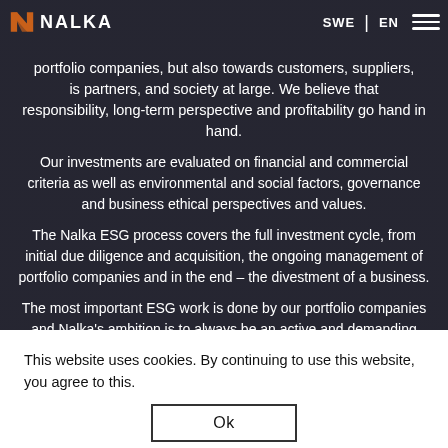NALKA | SWE | EN
portfolio companies, but also towards customers, suppliers, is partners, and society at large. We believe that responsibility, long-term perspective and profitability go hand in hand.
Our investments are evaluated on financial and commercial criteria as well as environmental and social factors, governance and business ethical perspectives and values.
The Nalka ESG process covers the full investment cycle, from initial due diligence and acquisition, the ongoing management of portfolio companies and in the end – the divestment of a business.
The most important ESG work is done by our portfolio companies and Nalka's ambition is to always be an active and demanding partner in all our investments.
This website uses cookies. By continuing to use this website, you agree to this.
Ok